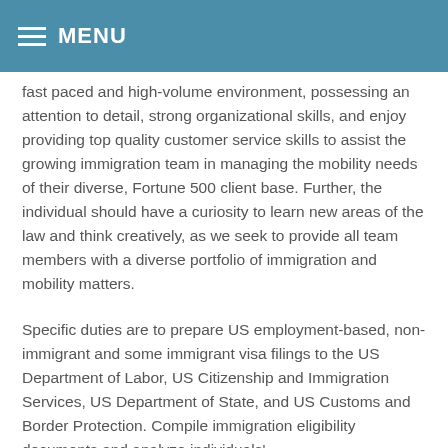MENU
fast paced and high-volume environment, possessing an attention to detail, strong organizational skills, and enjoy providing top quality customer service skills to assist the growing immigration team in managing the mobility needs of their diverse, Fortune 500 client base. Further, the individual should have a curiosity to learn new areas of the law and think creatively, as we seek to provide all team members with a diverse portfolio of immigration and mobility matters.
Specific duties are to prepare US employment-based, non-immigrant and some immigrant visa filings to the US Department of Labor, US Citizenship and Immigration Services, US Department of State, and US Customs and Border Protection. Compile immigration eligibility documents and analyze individuals'